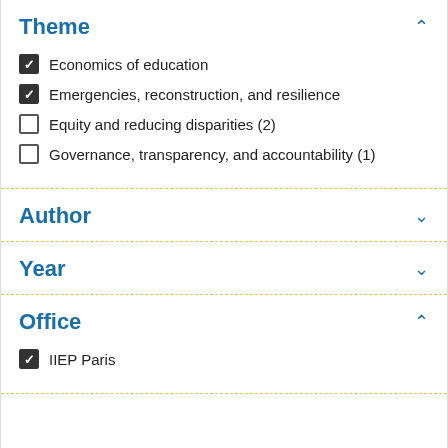Theme
Economics of education
Emergencies, reconstruction, and resilience
Equity and reducing disparities (2)
Governance, transparency, and accountability (1)
Author
Year
Office
IIEP Paris